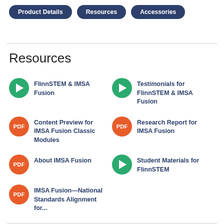Product Details | Resources | Accessories
Resources
FlinnSTEM & IMSA Fusion
Testimonials for FlinnSTEM & IMSA Fusion
Content Preview for IMSA Fusion Classic Modules
Research Report for IMSA Fusion
About IMSA Fusion
Student Materials for FlinnSTEM
IMSA Fusion—National Standards Alignment for...
Product Details